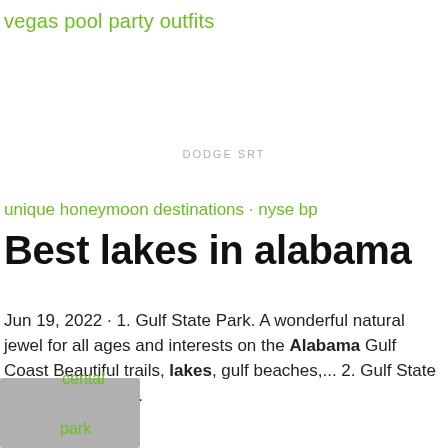vegas pool party outfits
DODGE SRT
unique honeymoon destinations · nyse bp
Best lakes in alabama
Jun 19, 2022 · 1. Gulf State Park. A wonderful natural jewel for all ages and interests on the Alabama Gulf Coast Beautiful trails, lakes, gulf beaches,... 2. Gulf State Park Fishing Pier.
cental
park